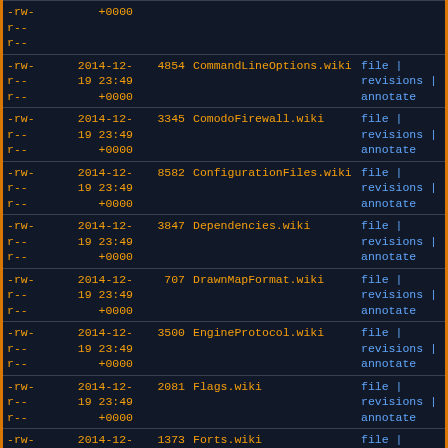| perms | date | size | name | links |
| --- | --- | --- | --- | --- |
| -rw-r--r-- | 2014-12-19 23:49 +0000 | 4854 | CommandLineOptions.wiki | file | revisions | annotate |
| -rw-r--r-- | 2014-12-19 23:49 +0000 | 3345 | ComodoFirewall.wiki | file | revisions | annotate |
| -rw-r--r-- | 2014-12-19 23:49 +0000 | 8582 | ConfigurationFiles.wiki | file | revisions | annotate |
| -rw-r--r-- | 2014-12-19 23:49 +0000 | 3847 | Dependencies.wiki | file | revisions | annotate |
| -rw-r--r-- | 2014-12-19 23:49 +0000 | 707 | DrawnMapFormat.wiki | file | revisions | annotate |
| -rw-r--r-- | 2014-12-19 23:49 +0000 | 3500 | EngineProtocol.wiki | file | revisions | annotate |
| -rw-r--r-- | 2014-12-19 23:49 +0000 | 2081 | Flags.wiki | file | revisions | annotate |
| -rw-r--r-- | 2014-12-19 23:49 +0000 | 1373 | Forts.wiki | file | revisions | annotate |
| -rw-r--r-- | 2014-12-19 23:49 +0000 | 859 | GearMessages.wiki | file | revisions | annotate |
| -rw-r--r-- | 2014-12-19 | 8312 | GearTypes.wiki | file | |